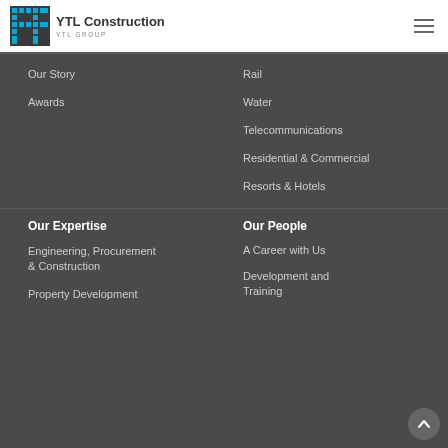[Figure (logo): YTL Construction logo with grid icon and text 'YTL Construction YTL GROUP']
Our Story
Awards
Rail
Water
Telecommunications
Residential & Commercial
Resorts & Hotels
Our Expertise
Engineering, Procurement & Construction
Property Development
Our People
A Career with Us
Development and Training